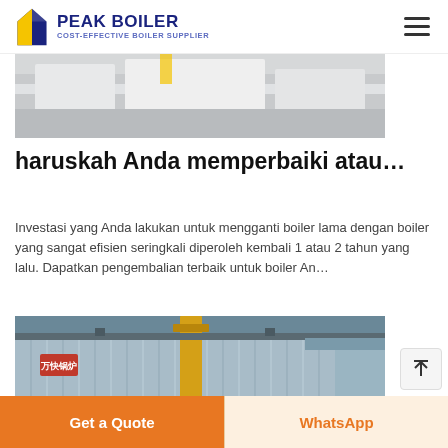PEAK BOILER — COST-EFFECTIVE BOILER SUPPLIER
[Figure (photo): Partial view of a boiler or industrial equipment in a workshop setting, light/white machinery visible]
haruskah Anda memperbaiki atau…
Investasi yang Anda lakukan untuk mengganti boiler lama dengan boiler yang sangat efisien seringkali diperoleh kembali 1 atau 2 tahun yang lalu. Dapatkan pengembalian terbaik untuk boiler An…
[Figure (photo): Industrial boiler unit in a factory, with corrugated metal cladding and yellow pipe, Chinese signage visible on unit.]